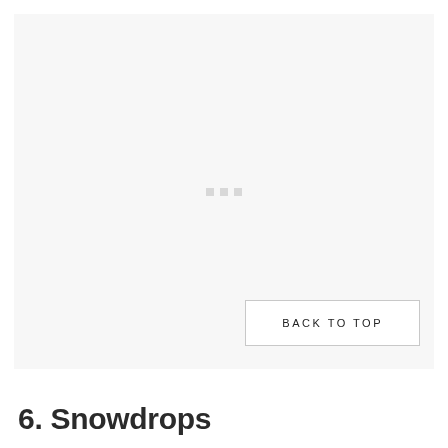[Figure (other): Large light gray placeholder image area with three small square gray dots centered in the middle]
BACK TO TOP
6. Snowdrops